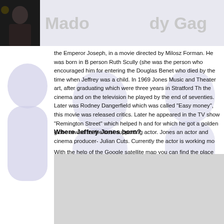Madonna  Lady Gaga
the Emperor Joseph, in a movie directed by Milosz Forman. He was born in B person Ruth Scully (she was the person who encouraged him for entering the Douglas Benet who died by the time when Jeffrey was a child. In 1969 Jones Music and Theater art, after graduating which were three years in Stratford Th the cinema and on the television he played by the end of seventies. Later was Rodney Dangerfield which was called "Easy money", this movie was released critics. Later he appeared in the TV show "Remington Street" which helped h and for which he got a golden globe award as the best supporting actor. Jones an actor and cinema producer- Julian Cuts. Currently the actor is working mo
Where Jeffrey Jones born?
With the help of the Google satellite map you can find the place where Jeffrey you can see the place itself and the area it is situated in and nearby. Find out w can see the place itself even not traveling.
[Figure (other): Gray placeholder box representing a map area]